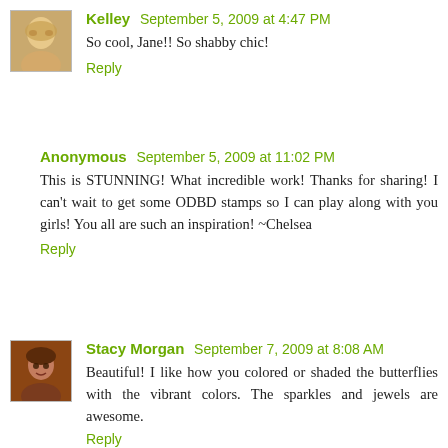Kelley  September 5, 2009 at 4:47 PM
So cool, Jane!! So shabby chic!
Reply
Anonymous  September 5, 2009 at 11:02 PM
This is STUNNING! What incredible work! Thanks for sharing! I can't wait to get some ODBD stamps so I can play along with you girls! You all are such an inspiration! ~Chelsea
Reply
Stacy Morgan  September 7, 2009 at 8:08 AM
Beautiful! I like how you colored or shaded the butterflies with the vibrant colors. The sparkles and jewels are awesome.
Reply